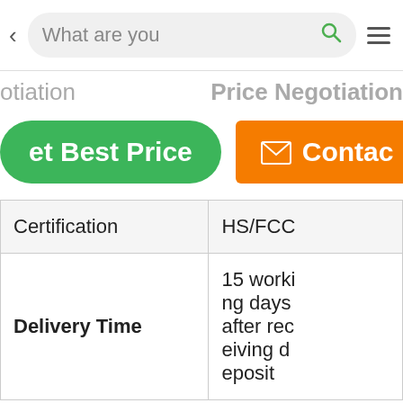[Figure (screenshot): Mobile app navigation bar with back arrow, search box showing 'What are you', search icon, and hamburger menu icon]
otiation   Price Negotiation
et Best Price   ✉ Contac
| Certification | HS/FCC |
| Delivery Time | 15 working days after receiving deposit |